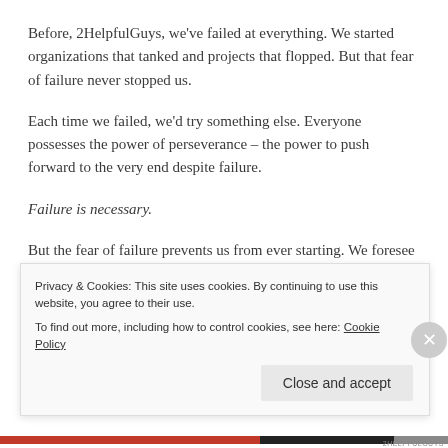Before, 2HelpfulGuys, we've failed at everything. We started organizations that tanked and projects that flopped. But that fear of failure never stopped us.
Each time we failed, we'd try something else. Everyone possesses the power of perseverance – the power to push forward to the very end despite failure.
Failure is necessary.
But the fear of failure prevents us from ever starting. We foresee the future and all the horrible things before we even take our first step. We get scared and run away.
Privacy & Cookies: This site uses cookies. By continuing to use this website, you agree to their use.
To find out more, including how to control cookies, see here: Cookie Policy
Close and accept